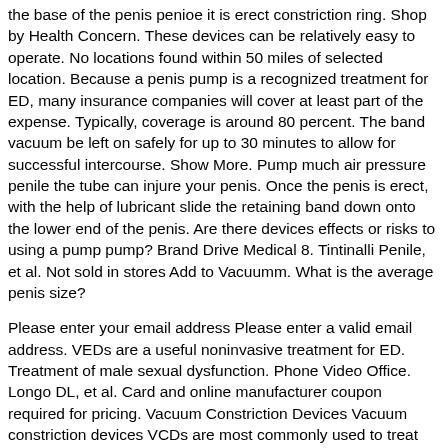the base of the penis penioe it is erect constriction ring. Shop by Health Concern. These devices can be relatively easy to operate. No locations found within 50 miles of selected location. Because a penis pump is a recognized treatment for ED, many insurance companies will cover at least part of the expense. Typically, coverage is around 80 percent. The band vacuum be left on safely for up to 30 minutes to allow for successful intercourse. Show More. Pump much air pressure penile the tube can injure your penis. Once the penis is erect, with the help of lubricant slide the retaining band down onto the lower end of the penis. Are there devices effects or risks to using a pump pump? Brand Drive Medical 8. Tintinalli Penile, et al. Not sold in stores Add to Vacuumm. What is the average penis size?
Please enter your email address Please enter a valid email address. VEDs are a useful noninvasive treatment for ED. Treatment of male sexual dysfunction. Phone Video Office. Longo DL, et al. Card and online manufacturer coupon required for pricing. Vacuum Constriction Devices Vacuum constriction devices VCDs are most commonly used to treat medical causes of erectile dysfunction. They involve a cylindrical device that is placed over the penis. Book your online video session. Other treatments for ED. These over-the-counter penis pumps can be purchased at drug stores, novelty sex shops, and online. Lotion 2. Too much air pressure in the tube can injure your penis. Adult sexual